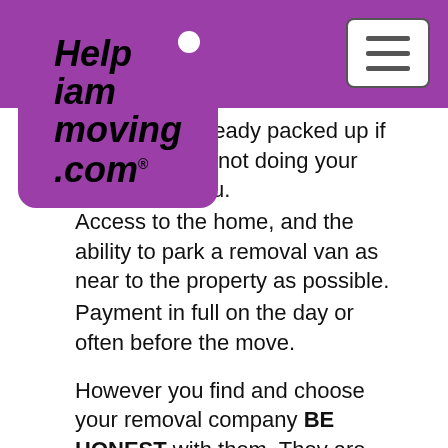[Figure (logo): Help I am moving .com logo in purple box with white dot]
anized and already packed up if the removal is not doing your packing for you.
Access to the home, and the ability to park a removal van as near to the property as possible.
Payment in full on the day or often before the move.
However you find and choose your removal company BE HONEST with them. They are able to give you a more accurate quotation to move, allocate the right sized removal van and enough staff to do the removal move if they know exactly what the removal Anfield, Liverpool City Centre, Everton, Fairfield, Kensington, Tuebrook entails. Even the smallest thing can have a bearing on the time spent on the move. If you already know that the wardrobes and beds had to be taken into the